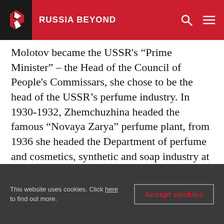RUSSIA BEYOND
Molotov became the USSR's “Prime Minister” – the Head of the Council of People's Commissars, she chose to be the head of the USSR’s perfume industry. In 1930-1932, Zhemchuzhina headed the famous “Novaya Zarya” perfume plant, from 1936 she headed the Department of perfume and cosmetics, synthetic and soap industry at the People's Commissariat of food industry of the USSR, and from 1939 she became a People’s Commissar for the Fish Industry. However, Zhemchuzhina only lasted 10 months there, soon downgraded to lower-ranking posts.
This website uses cookies. Click here to find out more.